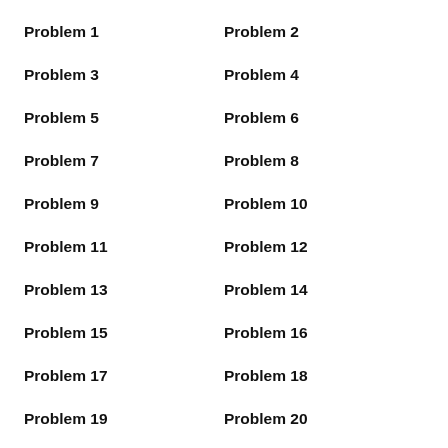Problem 1
Problem 2
Problem 3
Problem 4
Problem 5
Problem 6
Problem 7
Problem 8
Problem 9
Problem 10
Problem 11
Problem 12
Problem 13
Problem 14
Problem 15
Problem 16
Problem 17
Problem 18
Problem 19
Problem 20
Problem 21
Problem 22
Problem 23
Problem 24
Problem 25
Problem 26
Problem 27
Problem 28